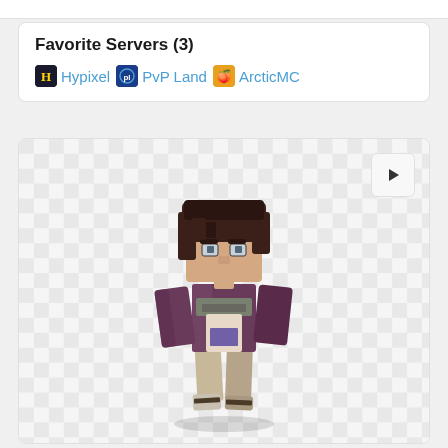Favorite Servers (3)
Hypixel
PvP Land
ArcticMC
[Figure (illustration): 3D rendered Minecraft player skin showing a character with dark brown hair, purple/maroon jacket, gray scarf, and tan/beige pants, posed in a slight crouch/lean. Checkerboard grey background typical of Minecraft skin viewers.]